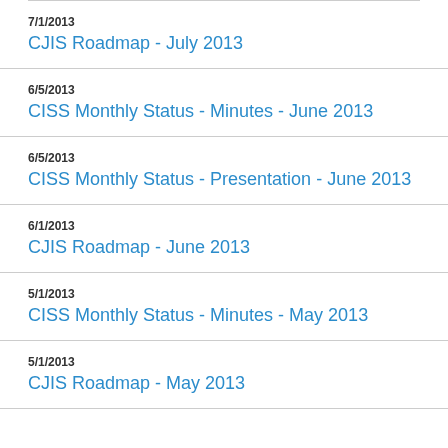7/1/2013
CJIS Roadmap - July 2013
6/5/2013
CISS Monthly Status - Minutes - June 2013
6/5/2013
CISS Monthly Status - Presentation - June 2013
6/1/2013
CJIS Roadmap - June 2013
5/1/2013
CISS Monthly Status - Minutes - May 2013
5/1/2013
CJIS Roadmap - May 2013